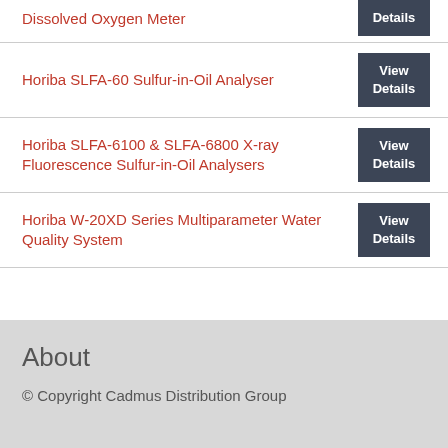Dissolved Oxygen Meter
Horiba SLFA-60 Sulfur-in-Oil Analyser
Horiba SLFA-6100 & SLFA-6800 X-ray Fluorescence Sulfur-in-Oil Analysers
Horiba W-20XD Series Multiparameter Water Quality System
About
© Copyright Cadmus Distribution Group